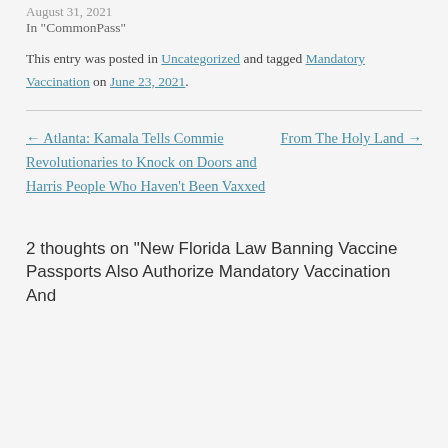August 31, 2021
In "CommonPass"
This entry was posted in Uncategorized and tagged Mandatory Vaccination on June 23, 2021.
← Atlanta: Kamala Tells Commie Revolutionaries to Knock on Doors and Harris People Who Haven't Been Vaxxed
From The Holy Land →
2 thoughts on "New Florida Law Banning Vaccine Passports Also Authorize Mandatory Vaccination And